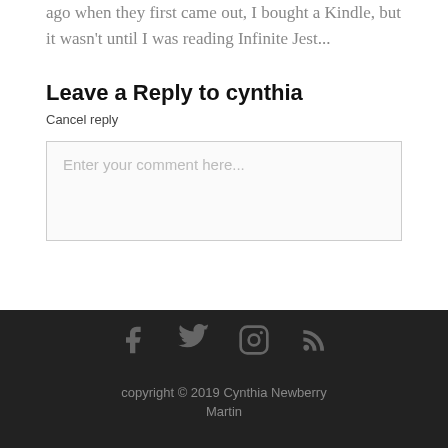ago when they first came out, I bought a Kindle, but it wasn't until I was reading Infinite Jest...
Leave a Reply to cynthia
Cancel reply
Enter your comment here...
copyright © 2019 Cynthia Newberry Martin